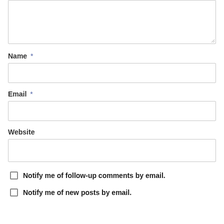[Figure (screenshot): A textarea input box (comment field) with a resize handle in the bottom-right corner, partially shown at the top of the page.]
Name *
[Figure (screenshot): Name input text field, empty.]
Email *
[Figure (screenshot): Email input text field, empty.]
Website
[Figure (screenshot): Website input text field, empty.]
Notify me of follow-up comments by email.
Notify me of new posts by email.